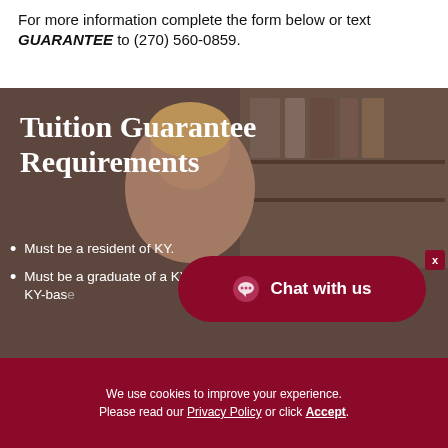For more information complete the form below or text GUARANTEE to (270) 560-0859.
[Figure (photo): Background photo of a smiling student with bookshelves, overlaid with dark tint]
Tuition Guarantee Requirements
Must be a resident of KY.
Must be a graduate of a KY high school or KY-based...
Chat with us
We use cookies to improve your experience. Please read our Privacy Policy or click Accept.